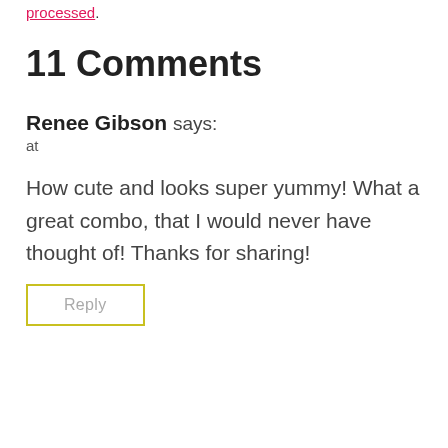processed.
11 Comments
Renee Gibson says:
at
How cute and looks super yummy! What a great combo, that I would never have thought of! Thanks for sharing!
Reply